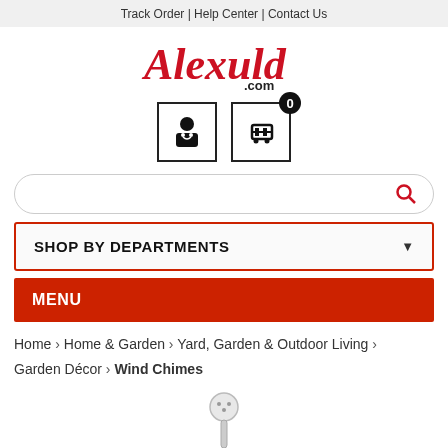Track Order | Help Center | Contact Us
[Figure (logo): Alexuld.com logo in red italic script font]
[Figure (illustration): User account icon and shopping cart icon with 0 badge]
[Figure (other): Search bar with red search icon]
SHOP BY DEPARTMENTS
MENU
Home > Home & Garden > Yard, Garden & Outdoor Living > Garden Décor > Wind Chimes
[Figure (photo): Partial product image of a wind chime at bottom of page]